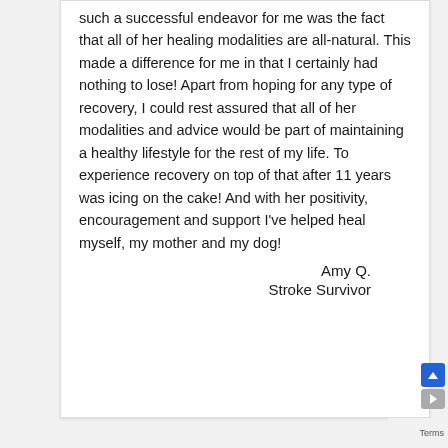such a successful endeavor for me was the fact that all of her healing modalities are all-natural. This made a difference for me in that I certainly had nothing to lose! Apart from hoping for any type of recovery, I could rest assured that all of her modalities and advice would be part of maintaining a healthy lifestyle for the rest of my life. To experience recovery on top of that after 11 years was icing on the cake! And with her positivity, encouragement and support I've helped heal myself, my mother and my dog!
Amy Q.
Stroke Survivor